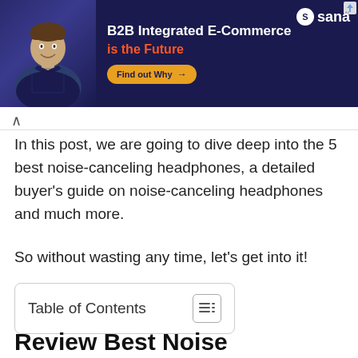[Figure (other): Advertisement banner for Sana B2B Integrated E-Commerce with a man in a dark shirt, dark blue background, orange 'Find out Why' button, and Sana logo in top right]
In this post, we are going to dive deep into the 5 best noise-canceling headphones, a detailed buyer's guide on noise-canceling headphones and much more.
So without wasting any time, let's get into it!
Table of Contents
Review Best Noise Cancelling Headphones for Sleeping